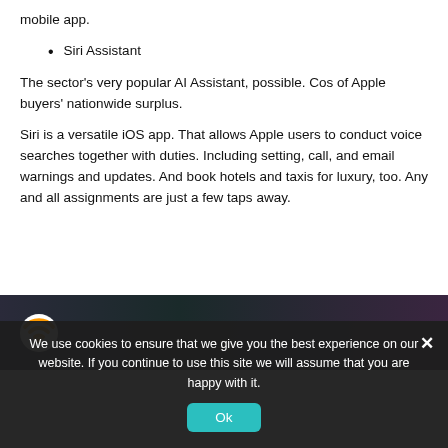mobile app.
Siri Assistant
The sector's very popular AI Assistant, possible. Cos of Apple buyers' nationwide surplus.
Siri is a versatile iOS app. That allows Apple users to conduct voice searches together with duties. Including setting, call, and email warnings and updates. And book hotels and taxis for luxury, too. Any and all assignments are just a few taps away.
[Figure (screenshot): Partial screenshot of a website with dark background and logo]
We use cookies to ensure that we give you the best experience on our website. If you continue to use this site we will assume that you are happy with it.